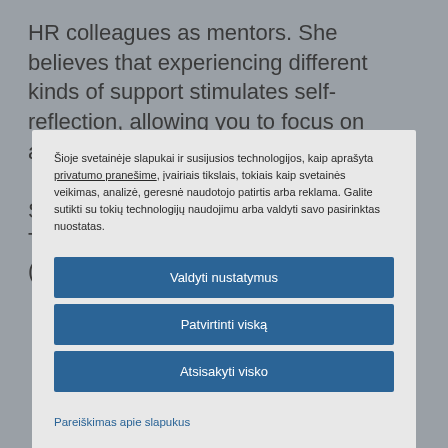HR colleagues as mentors. She believes that experiencing different kinds of support stimulates self-reflection, allowing you to focus on areas to improve on or change.

Shipra has completed her rotations with Talent Acquisition and HR Operations (India), and is now in
Šioje svetainėje slapukai ir susijusios technologijos, kaip aprašyta privatumo pranešime, įvairiais tikslais, tokiais kaip svetainės veikimas, analizė, geresnė naudotojo patirtis arba reklama. Galite sutikti su tokių technologijų naudojimu arba valdyti savo pasirinktas nuostatas.
Valdyti nustatymus
Patvirtinti viską
Atsisakyti visko
Pareiškimas apie slapukus